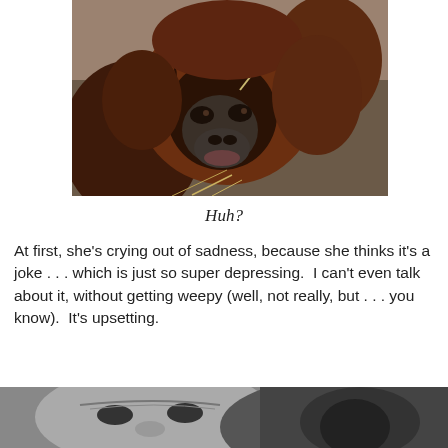[Figure (photo): Close-up photo of an orangutan holding a straw near its face, looking contemplative, with reddish-brown fur against a blurred background.]
Huh?
At first, she's crying out of sadness, because she thinks it's a joke . . . which is just so super depressing.  I can't even talk about it, without getting weepy (well, not really, but . . . you know).  It's upsetting.
[Figure (photo): Black and white photo showing two faces close together, an older person and what appears to be a primate, partially cropped at the bottom of the page.]